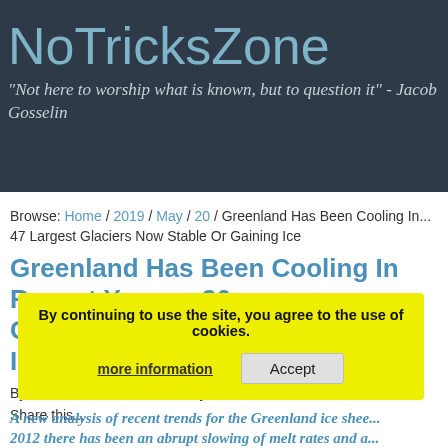NoTricksZone
"Not here to worship what is known, but to question it" - Jacob Gosselin
Browse: Home / 2019 / May / 20 / Greenland Has Been Cooling In... 47 Largest Glaciers Now Stable Or Gaining Ice
Greenland Has Been Cooling In Recent Years – 26... Glaciers Now Stable Or Gaining Ice
By Kenneth Richard on 20. May 2019
Share this...
By continuing to use the site, you agree to the use of cookies. more information Accept
A new analysis of recent trends for the Greenland ice shee... 2012 there has been an abrupt slowing of melt rates and a...